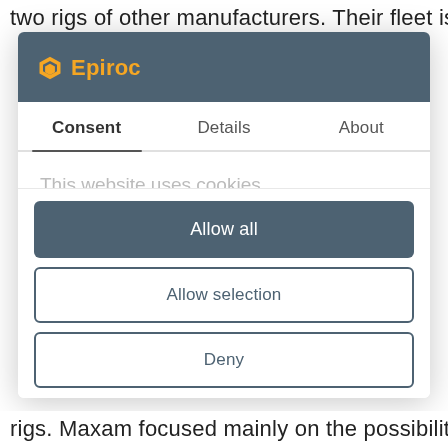two rigs of other manufacturers. Their fleet is
[Figure (screenshot): Epiroc cookie consent modal dialog with tabs for Consent, Details, About. Contains 'This website uses cookies' heading, partial text 'We use cookies to personalize content and ads, to...', and three buttons: Allow all (dark filled), Allow selection (outlined), Deny (outlined).]
rigs. Maxam focused mainly on the possibility